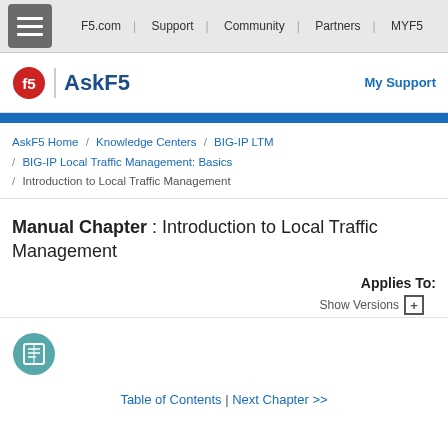F5.com | Support | Community | Partners | MYF5
[Figure (logo): F5 AskF5 logo with red F5 circle icon and blue AskF5 text, My Support link on right]
AskF5 Home / Knowledge Centers / BIG-IP LTM / BIG-IP Local Traffic Management: Basics / Introduction to Local Traffic Management
Manual Chapter : Introduction to Local Traffic Management
Applies To:
Show Versions +
[Figure (illustration): Book/manual icon in teal circle]
Table of Contents | Next Chapter >>